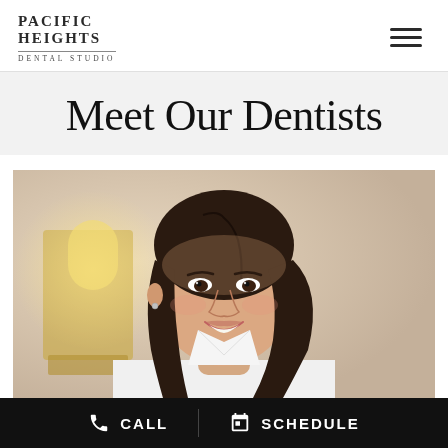PACIFIC HEIGHTS DENTAL STUDIO
Meet Our Dentists
[Figure (photo): Portrait photo of a female dentist with dark hair, wearing a white coat, smiling, with a warm beige/cream background and a lamp visible to the left.]
CALL  SCHEDULE